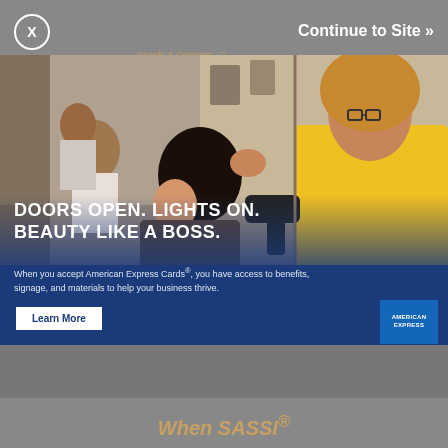Awards & Contests
2022 Salons of the Year: DL
Continue to Site »
[Figure (photo): Hair salon scene with a hairstylist in a yellow top using a blow dryer on a client with dark curly hair; another person visible in the background mirror]
DOORS OPEN. LIGHTS ON. BEAUTY LIKE A BOSS.
When you accept American Express Cards®, you have access to benefits, signage, and materials to help your business thrive.
Learn More
[Figure (logo): American Express logo — blue square with AMERICAN EXPRESS text in white]
When SASSI®